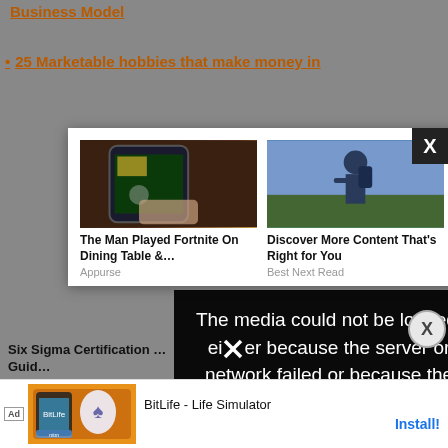Business Model
25 Marketable hobbies that make money in
[Figure (screenshot): Modal popup ad with two content thumbnails: 'The Man Played Fortnite On Dining Table &...' (Appurse) and 'Discover More Content That's Right for You' (Best Next Read), with close X button]
[Figure (screenshot): Black error overlay: 'The media could not be loaded, either because the server or network failed or because the']
Six Sigma Certification Guide
[Figure (screenshot): Bottom ad bar with Ad label, colorful BitLife app image, 'BitLife - Life Simulator' text and Install button]